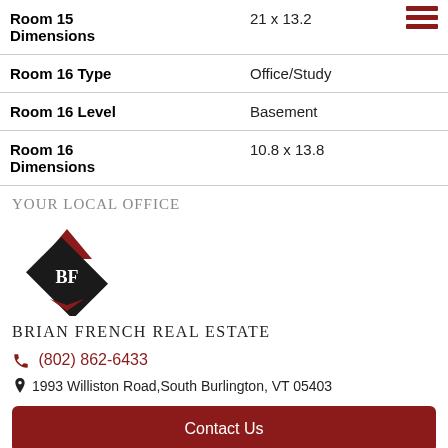| Room 15 Dimensions | 21 x 13.2 |
| Room 16 Type | Office/Study |
| Room 16 Level | Basement |
| Room 16 Dimensions | 10.8 x 13.8 |
Your Local Office
[Figure (logo): Brian French Real Estate logo: dark diamond shape with BF initials and red roof/arrow elements]
Brian French Real Estate
(802) 862-6433
1993 Williston Road, South Burlington, VT 05403
Contact Us
Our Agents